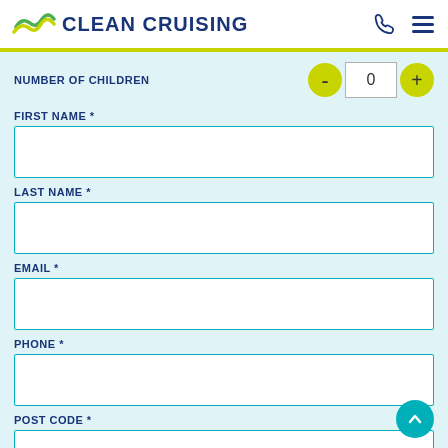CLEAN CRUISING
NUMBER OF CHILDREN  - 0 +
FIRST NAME *
LAST NAME *
EMAIL *
PHONE *
POST CODE *